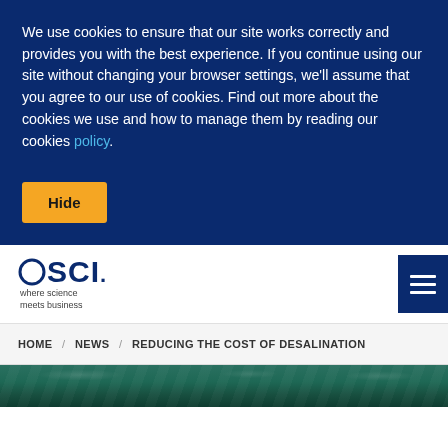We use cookies to ensure that our site works correctly and provides you with the best experience. If you continue using our site without changing your browser settings, we'll assume that you agree to our use of cookies. Find out more about the cookies we use and how to manage them by reading our cookies policy.
Hide
[Figure (logo): SCI logo - circle icon with 'SCI.' text and tagline 'where science meets business']
[Figure (other): Hamburger menu button (three horizontal lines) on dark blue background]
HOME / NEWS / REDUCING THE COST OF DESALINATION
[Figure (photo): Ocean/water photo strip at the bottom of the page]